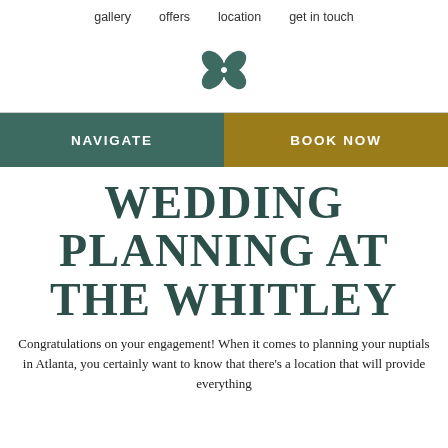gallery   offers   location   get in touch
[Figure (logo): Floral four-petal logo in teal/dark green color]
NAVIGATE
BOOK NOW
WEDDING PLANNING AT THE WHITLEY
Congratulations on your engagement! When it comes to planning your nuptials in Atlanta, you certainly want to know that there's a location that will provide everything